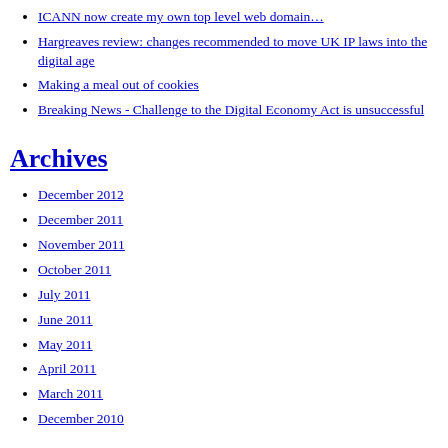other worried musicians
Make-up time for L'Oreal and eBay?
ICANN now create my own top level web domain…
Hargreaves review: changes recommended to move UK IP laws into the digital age
Making a meal out of cookies
Breaking News - Challenge to the Digital Economy Act is unsuccessful
Archives
December 2012
December 2011
November 2011
October 2011
July 2011
June 2011
May 2011
April 2011
March 2011
December 2010
Categories